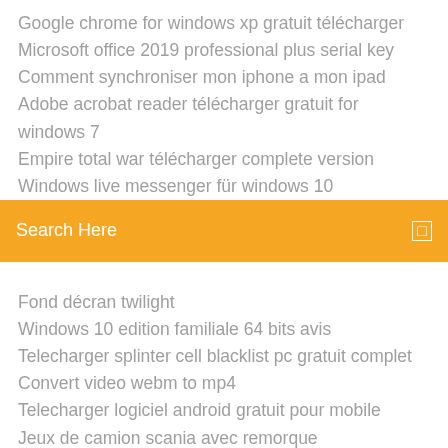Google chrome for windows xp gratuit télécharger
Microsoft office 2019 professional plus serial key
Comment synchroniser mon iphone a mon ipad
Adobe acrobat reader télécharger gratuit for windows 7
Empire total war télécharger complete version
Windows live messenger für windows 10
[Figure (screenshot): Orange search bar with text 'Search Here' and a small square icon on the right]
Fond décran twilight
Windows 10 edition familiale 64 bits avis
Telecharger splinter cell blacklist pc gratuit complet
Convert video webm to mp4
Telecharger logiciel android gratuit pour mobile
Jeux de camion scania avec remorque
Convertir mkv en divx en ligne
Plus de wifi sur pc portable hp
Logiciel pour transformer un fichier pdf en word
Quel logiciel pour retoucher les photos sur mac